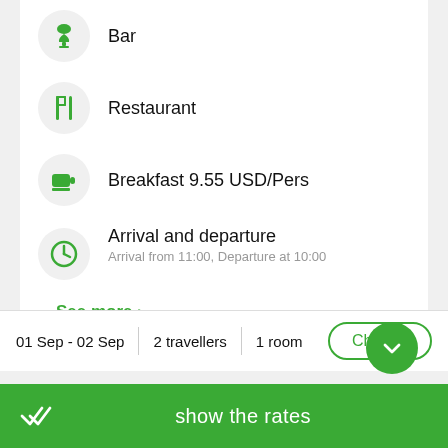Bar
Restaurant
Breakfast 9.55 USD/Pers
Arrival and departure
Arrival from 11:00, Departure at 10:00
See more >
01 Sep - 02 Sep   2 travellers   1 room
Change
show the rates